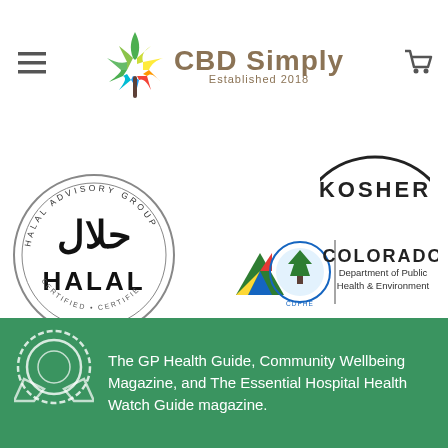CBD Simply Established 2018
[Figure (logo): Kosher certification seal partially visible at top right]
[Figure (logo): Halal Advisory Group certified circular seal with Arabic script and HALAL text]
[Figure (logo): Colorado Department of Public Health & Environment logo]
The GP Health Guide, Community Wellbeing Magazine, and The Essential Hospital Health Watch Guide magazine.